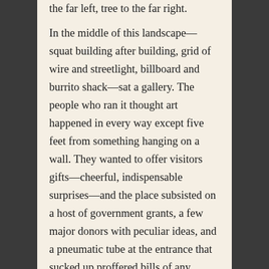the far left, tree to the far right.

In the middle of this landscape—squat building after building, grid of wire and streetlight, billboard and burrito shack—sat a gallery. The people who ran it thought art happened in every way except five feet from something hanging on a wall. They wanted to offer visitors gifts—cheerful, indispensable surprises—and the place subsisted on a host of government grants, a few major donors with peculiar ideas, and a pneumatic tube at the entrance that sucked up proffered bills of any denomination along with the occasional napkin sketch, i.o.u., or burger wrapper. Not long ago they decided to turn the gallery into